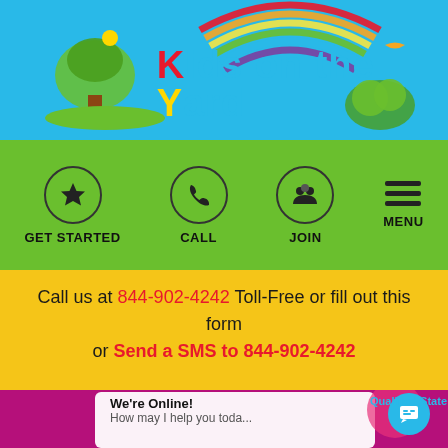[Figure (logo): Kids on the Yard colorful logo with rainbow and illustrated tree/landscape graphics on a sky-blue background]
[Figure (infographic): Green navigation bar with four items: GET STARTED (star icon in circle), CALL (phone icon in circle), JOIN (group icon in circle), MENU (hamburger icon)]
Call us at 844-902-4242 Toll-Free or fill out this form or Send a SMS to 844-902-4242
Let us know when would be a good time to call back.
[Figure (screenshot): Bottom section showing purple/magenta background, partial image with 'Qualified State' text, and a white chat popup saying 'We're Online! How may I help you toda...' with a blue chat bubble icon]